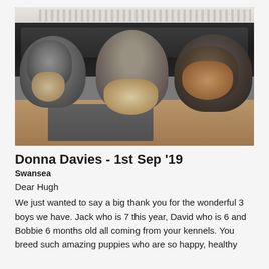[Figure (photo): Three Schnauzer dogs sitting on/behind a leather sofa, looking at the camera. The room has a radiator in the background and a grey mat on the wooden floor in front.]
Donna Davies - 1st Sep '19
Swansea
Dear Hugh
We just wanted to say a big thank you for the wonderful 3 boys we have. Jack who is 7 this year, David who is 6 and Bobbie 6 months old all coming from your kennels. You breed such amazing puppies who are so happy, healthy